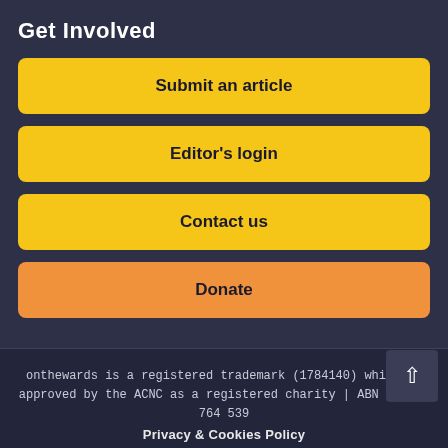Get Involved
Submit an article
Editor's login
Contact us
Donate
onthewards is a registered trademark (1784140) which is approved by the ACNC as a registered charity | ABN 51 198 764 539
This work is licensed under a Creative Commons Attribution 2.0 Generic License
Privacy & Cookies Policy